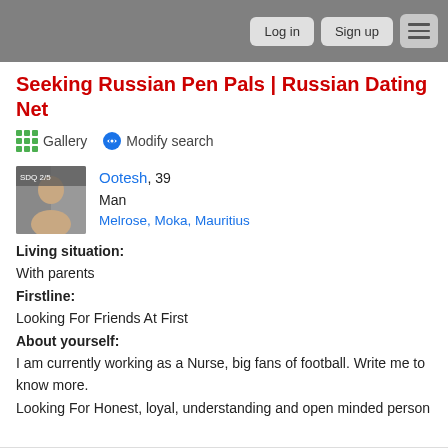Log in  Sign up  ☰
Seeking Russian Pen Pals | Russian Dating Net
⊞ Gallery  🔍 Modify search
[Figure (photo): Profile photo of a man named Ootesh, appearing to be in his late 30s.]
Ootesh, 39
Man
Melrose, Moka, Mauritius
Living situation:
With parents
Firstline:
Looking For Friends At First
About yourself:
I am currently working as a Nurse, big fans of football. Write me to know more.
Looking For Honest, loyal, understanding and open minded person